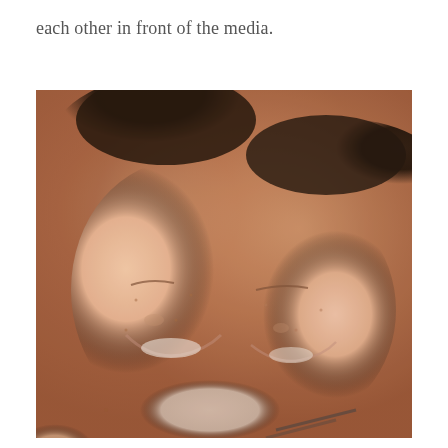each other in front of the media.
[Figure (photo): A close-up photo of a young man and a young woman lying together, both smiling with eyes closed, cheeks touching, appearing happy and relaxed.]